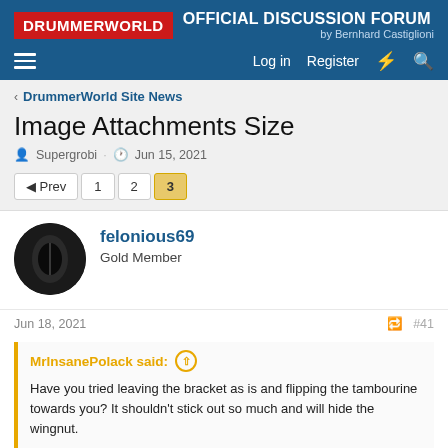DRUMMERWORLD OFFICIAL DISCUSSION FORUM by Bernhard Castiglioni
< DrummerWorld Site News
Image Attachments Size
Supergrobi · Jun 15, 2021
Prev 1 2 3
felonious69
Gold Member
Jun 18, 2021 #41
MrInsanePolack said: ↑
Have you tried leaving the bracket as is and flipping the tambourine towards you? It shouldn't stick out so much and will hide the wingnut.

As for what to do with it, try using it in conjunction with opening the